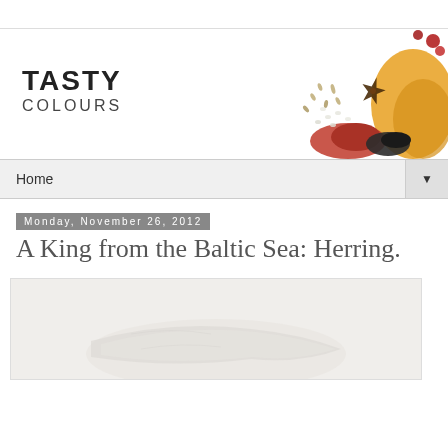[Figure (logo): Tasty Colours blog banner with logo text 'TASTY COLOURS' on the left and colorful spices illustration on the right]
Home
Monday, November 26, 2012
A King from the Baltic Sea: Herring.
[Figure (photo): Photo of herring fish, white/light colored, partially visible at bottom of page]